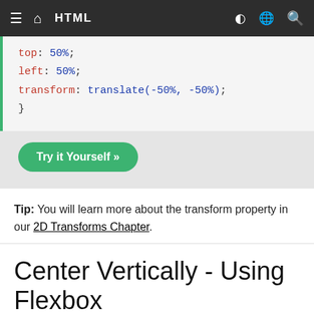HTML
top: 50%;
  left: 50%;
  transform: translate(-50%, -50%);
Try it Yourself »
Tip: You will learn more about the transform property in our 2D Transforms Chapter.
Center Vertically - Using Flexbox
You can also use flexbox to center things. Just note that flexbox is not supported in IE10 and earlier versions: